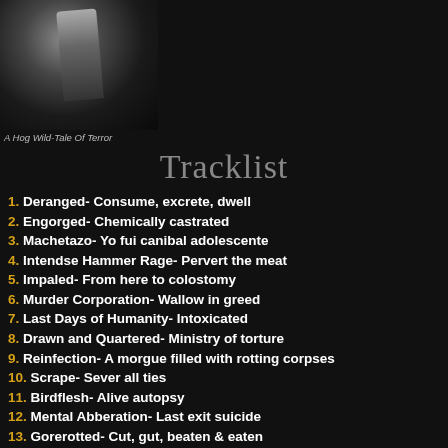[Figure (photo): Album cover photo showing a dark, moody image with what appears to be an instrument or figure, partially visible at top-left corner]
A Hog Wild-Tale Of Terror
Tracklist
1. Deranged- Consume, excrete, dwell
2. Engorged- Chemically castrated
3. Machetazo- Yo fui canibal adolescente
4. Intendse Hammer Rage- Pervert the meat
5. Impaled- From here to colostomy
6. Murder Corporation- Wallow in greed
7. Last Days of Humanity- Intoxicated
8. Drawn and Quartered- Ministry of torture
9. Reinfection- A morgue filled with rotting corpses
10. Scrape- Sever all ties
11. Birdflesh- Alive autopsy
12. Mental Abberation- Last exit suicide
13. Gorerotted- Cut, gut, beaten & eaten